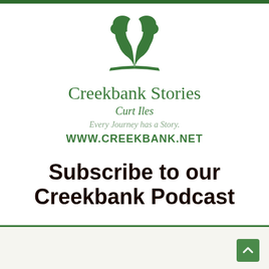[Figure (logo): Creekbank Stories logo: two green tree/leaf silhouettes forming an open book shape]
Creekbank Stories
Curt Iles
Every Journey has a Story.
WWW.CREEKBANK.NET
Subscribe to our Creekbank Podcast